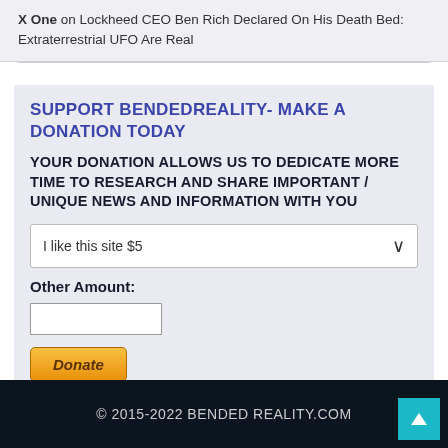X One on Lockheed CEO Ben Rich Declared On His Death Bed: Extraterrestrial UFO Are Real
SUPPORT BENDEDREALITY- MAKE A DONATION TODAY
YOUR DONATION ALLOWS US TO DEDICATE MORE TIME TO RESEARCH AND SHARE IMPORTANT / UNIQUE NEWS AND INFORMATION WITH YOU
I like this site $5
Other Amount:
Donate
© 2015-2022 BENDED REALITY.COM